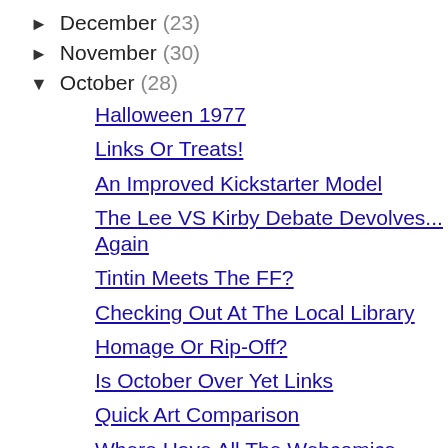► December (23)
► November (30)
▼ October (28)
Halloween 1977
Links Or Treats!
An Improved Kickstarter Model
The Lee VS Kirby Debate Devolves... Again
Tintin Meets The FF?
Checking Out At The Local Library
Homage Or Rip-Off?
Is October Over Yet Links
Quick Art Comparison
Where Have All The Webcomics Gone?
Billy Ireland Looks For A Roommate